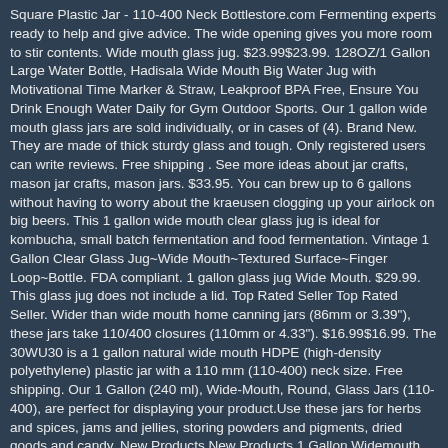Square Plastic Jar - 110-400 Neck Bottlestore.com Fermenting experts ready to help and give advice. The wide opening gives you more room to stir contents. Wide mouth glass jug. $23.99$23.99. 128OZ/1 Gallon Large Water Bottle, Hadisala Wide Mouth Big Water Jug with Motivational Time Marker & Straw, Leakproof BPA Free, Ensure You Drink Enough Water Daily for Gym Outdoor Sports. Our 1 gallon wide mouth glass jars are sold individually, or in cases of (4). Brand New. They are made of thick sturdy glass and tough. Only registered users can write reviews. Free shipping . See more ideas about jar crafts, mason jar crafts, mason jars. $33.95. You can brew up to 6 gallons without having to worry about the kraeusen clogging up your airlock on big beers. This 1 gallon wide mouth clear glass jug is ideal for kombucha, small batch fermentation and food fermentation. Vintage 1 Gallon Clear Glass Jug~Wide Mouth~Textured Surface~Finger Loop~Bottle. FDA compliant. 1 gallon glass jug Wide Mouth. $29.99. This glass jug does not include a lid. Top Rated Seller Top Rated Seller. Wider than wide mouth home canning jars (86mm or 3.39"), these jars take 110/400 closures (110mm or 4.33"). $16.99$16.99. The 30WU30 is a 1 gallon natural wide mouth HDPE (high-density polyethylene) plastic jar with a 110 mm (110-400) neck size. Free shipping. Our 1 Gallon (240 ml), Wide-Mouth, Round, Glass Jars (110-400), are perfect for displaying your product.Use these jars for herbs and spices, jams and jellies, storing powders and pigments, dried goods and candy. New Products New Products 1 Gallon Widemouth Glass Jug 1 Gallon Widemouth Glass Jug. Straight Sided Glass Jars (10) Wide Mouth Glass Bottles (8) Lids and Closures (347) Miscellaneous (170) Plastic Bottles (360) Uncategorized (2) 1 Gallon Amber Glass Bottle 38-400 – G003 $ 6.97. Finger handle for easy carrying and pouring. They are made of thick sturdy glass and tough. Shipping and handling. Often used for pickles, pickled eggs, kombucha, and